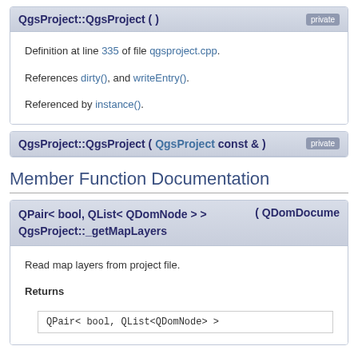QgsProject::QgsProject ( )
Definition at line 335 of file qgsproject.cpp.
References dirty(), and writeEntry().
Referenced by instance().
QgsProject::QgsProject ( QgsProject const & )
Member Function Documentation
QPair< bool, QList< QDomNode > > QgsProject::_getMapLayers ( QDomDocume
Read map layers from project file.
Returns
QPair< bool, QList<QDomNode> >